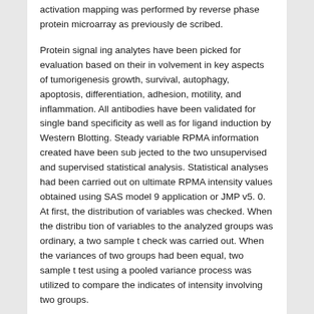activation mapping was performed by reverse phase protein microarray as previously de scribed.
Protein signal ing analytes have been picked for evaluation based on their in volvement in key aspects of tumorigenesis growth, survival, autophagy, apoptosis, differentiation, adhesion, motility, and inflammation. All antibodies have been validated for single band specificity as well as for ligand induction by Western Blotting. Steady variable RPMA information created have been sub jected to the two unsupervised and supervised statistical analysis. Statistical analyses had been carried out on ultimate RPMA intensity values obtained using SAS model 9 application or JMP v5. 0. At first, the distribution of variables was checked. When the distribu tion of variables to the analyzed groups was ordinary, a two sample t check was carried out. When the variances of two groups had been equal, two sample t test using a pooled variance process was utilized to compare the indicates of intensity involving two groups.
Otherwise, two sample t test without a pooled variance